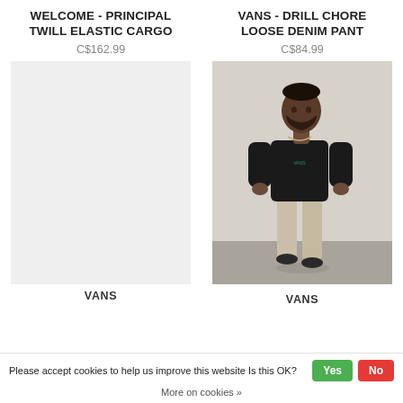WELCOME - PRINCIPAL TWILL ELASTIC CARGO
C$162.99
[Figure (photo): Product image placeholder - light grey background, no product shown]
VANS
VANS - DRILL CHORE LOOSE DENIM PANT
C$84.99
[Figure (photo): Photo of a man wearing a black long sleeve top and beige/khaki loose fit pants, standing against a light grey background]
VANS
Please accept cookies to help us improve this website Is this OK?
More on cookies »